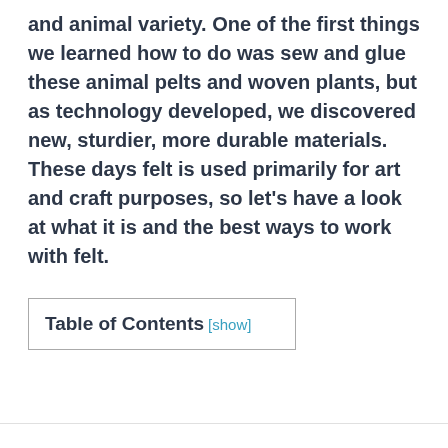and animal variety. One of the first things we learned how to do was sew and glue these animal pelts and woven plants, but as technology developed, we discovered new, sturdier, more durable materials. These days felt is used primarily for art and craft purposes, so let's have a look at what it is and the best ways to work with felt.
| Table of Contents [show] |
| --- |